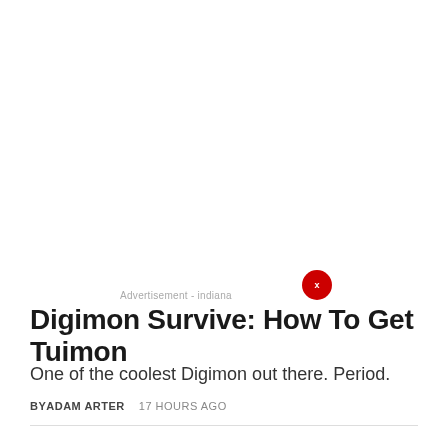Advertisement - indiana
Digimon Survive: How To Get Turuiemon
One of the coolest Digimon out there. Period.
BY ADAM ARTER   17 HOURS AGO
TRENDING